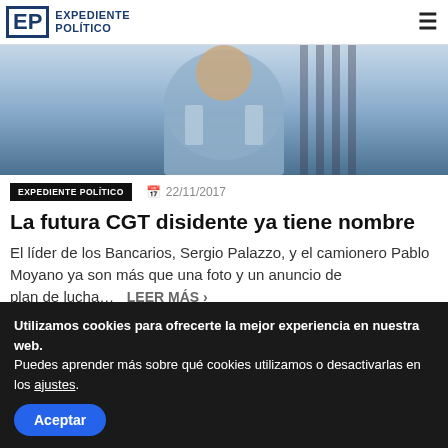EP EXPEDIENTE POLÍTICO
[Figure (photo): Photo of a person wearing a light blue short-sleeve shirt, partially cropped]
EXPEDIENTE POLÍTICO   22/11/2017
La futura CGT disidente ya tiene nombre
El líder de los Bancarios, Sergio Palazzo, y el camionero Pablo Moyano ya son más que una foto y un anuncio de plan de lucha… LEER MÁS
Utilizamos cookies para ofrecerte la mejor experiencia en nuestra web.
Puedes aprender más sobre qué cookies utilizamos o desactivarlas en los ajustes.